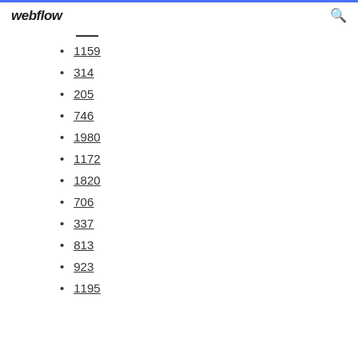webflow
1159
314
205
746
1980
1172
1820
706
337
813
923
1195